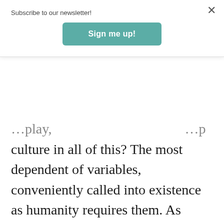Subscribe to our newsletter!
Sign me up!
…play, …p culture in all of this? The most dependent of variables, conveniently called into existence as humanity requires them. As Morris' baldly puts it “each age gets the thought it needs.” This indifference to (or complacency about) ideas and culture allows Morris to lump the Moslem Middle East with Europe in the “West,” and to regard the so-called “Axial Age” thinkers, Socrates, Confucius, and the Buddha, as all representing pretty much of a